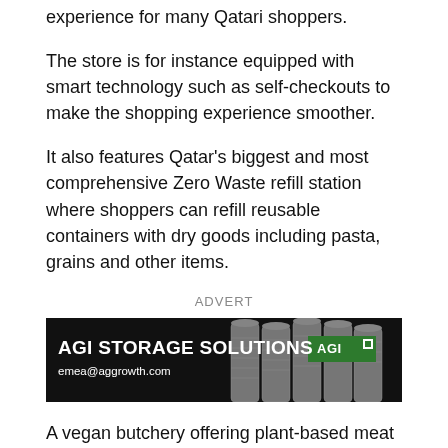experience for many Qatari shoppers.
The store is for instance equipped with smart technology such as self-checkouts to make the shopping experience smoother.
It also features Qatar's biggest and most comprehensive Zero Waste refill station where shoppers can refill reusable containers with dry goods including pasta, grains and other items.
ADVERT
[Figure (other): AGI Storage Solutions advertisement banner with text 'AGI STORAGE SOLUTIONS emea@aggrowth.com' and grain silos imagery on dark background with AGI logo.]
A vegan butchery offering plant-based meat alternatives; A sushi station with a trained sushi chef freshly made maki rolls and sashimi; a Super Food Pantry; and a honey station are also located at the facility.